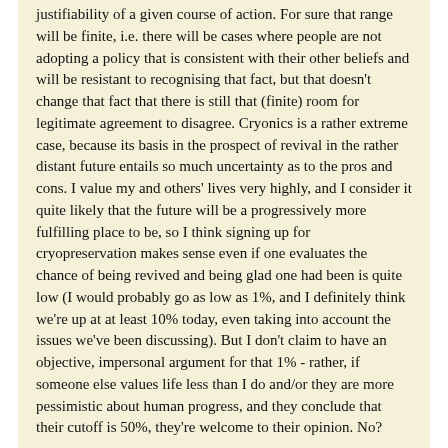justifiability of a given course of action. For sure that range will be finite, i.e. there will be cases where people are not adopting a policy that is consistent with their other beliefs and will be resistant to recognising that fact, but that doesn't change that fact that there is still that (finite) room for legitimate agreement to disagree. Cryonics is a rather extreme case, because its basis in the prospect of revival in the rather distant future entails so much uncertainty as to the pros and cons. I value my and others' lives very highly, and I consider it quite likely that the future will be a progressively more fulfilling place to be, so I think signing up for cryopreservation makes sense even if one evaluates the chance of being revived and being glad one had been is quite low (I would probably go as low as 1%, and I definitely think we're up at at least 10% today, even taking into account the issues we've been discussing). But I don't claim to have an objective, impersonal argument for that 1% - rather, if someone else values life less than I do and/or they are more pessimistic about human progress, and they conclude that their cutoff is 50%, they're welcome to their opinion. No?
I agree about some scope for people to differ, though I don't think the reasonable range extends to not signing up for cryonics that is 50%...